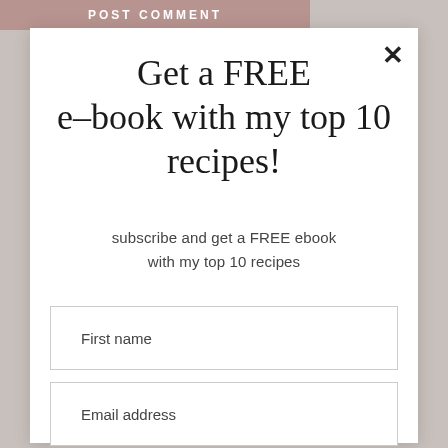POST COMMENT
Get a FREE e-book with my top 10 recipes!
subscribe and get a FREE ebook with my top 10 recipes
First name
Email address
COUNT ME IN!